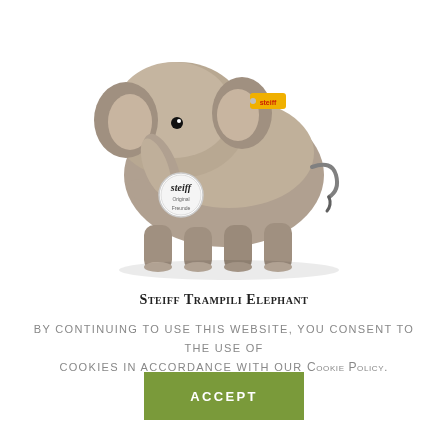[Figure (photo): A Steiff Trampili Elephant stuffed animal toy, gray/beige fluffy plush elephant standing on four legs with a yellow Steiff ear tag and a round Steiff chest tag, photographed on white background.]
Steiff Trampili Elephant
By continuing to use this website, you consent to the use of cookies in accordance with our Cookie Policy.
ACCEPT